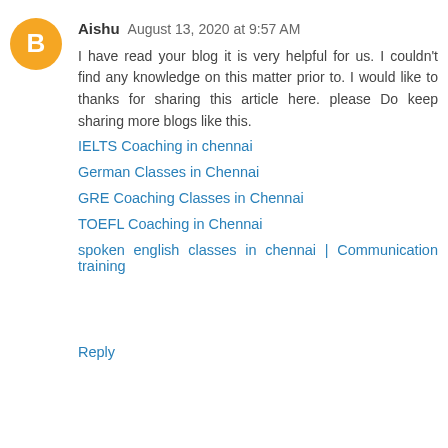[Figure (illustration): Orange circular Blogger avatar icon with white 'B' letter]
Aishu August 13, 2020 at 9:57 AM
I have read your blog it is very helpful for us. I couldn't find any knowledge on this matter prior to. I would like to thanks for sharing this article here. please Do keep sharing more blogs like this.
IELTS Coaching in chennai
German Classes in Chennai
GRE Coaching Classes in Chennai
TOEFL Coaching in Chennai
spoken english classes in chennai | Communication training
Reply